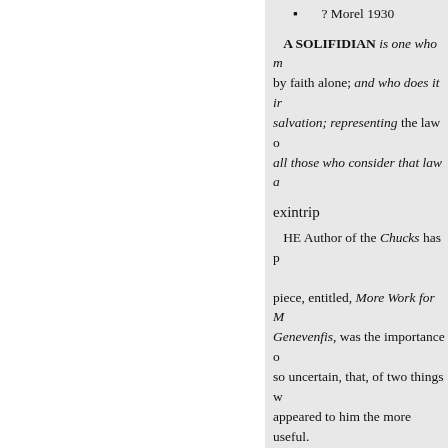? Morel 1930
A SOLIFIDIAN is one who maintains that salvation is obtained by faith alone; and who does it in a manner irreconcilable with the necessity of good works to salvation; representing the law of God as useless or hurtful to all those who consider that law as a rule of life.
exintrip
HE Author of the Chucks has published a piece, entitled, More Work for M Genevenfis, was the importance of so uncertain, that, of two things appeared to him the more useful. before he faced so able a writer a system of truth, which, like the s prove that error, which shines on perform his engagement in a sho
Madeley, Nov. 12,
1774
«  []